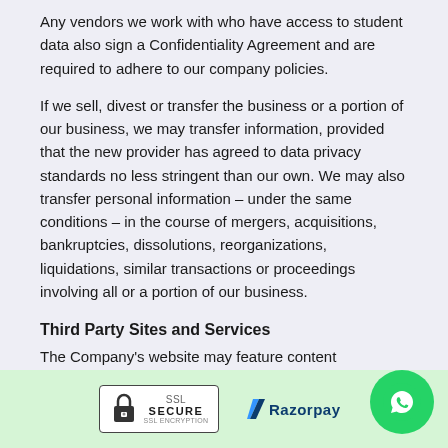Any vendors we work with who have access to student data also sign a Confidentiality Agreement and are required to adhere to our company policies.
If we sell, divest or transfer the business or a portion of our business, we may transfer information, provided that the new provider has agreed to data privacy standards no less stringent than our own. We may also transfer personal information – under the same conditions – in the course of mergers, acquisitions, bankruptcies, dissolutions, reorganizations, liquidations, similar transactions or proceedings involving all or a portion of our business.
Third Party Sites and Services
The Company's website may feature content displayed...
[Figure (logo): Secure SSL Encryption badge with padlock icon]
[Figure (logo): Razorpay payment logo]
[Figure (logo): WhatsApp chat button (green circle with phone icon)]